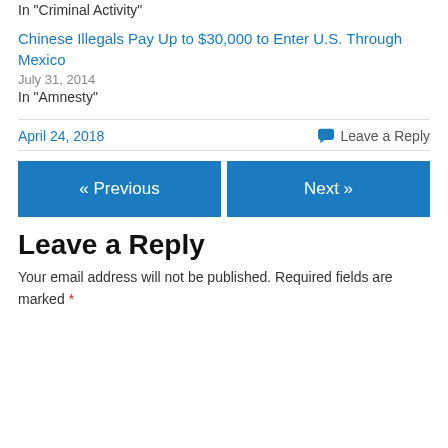In "Criminal Activity"
Chinese Illegals Pay Up to $30,000 to Enter U.S. Through Mexico
July 31, 2014
In "Amnesty"
April 24, 2018
Leave a Reply
« Previous
Next »
Leave a Reply
Your email address will not be published. Required fields are marked *